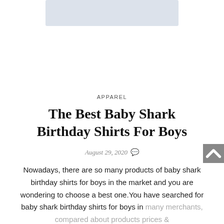[Figure (photo): Partial image cropped at top of page, light blue-grey rectangle representing a product image placeholder]
APPAREL
The Best Baby Shark Birthday Shirts For Boys
August 29, 2020
Nowadays, there are so many products of baby shark birthday shirts for boys in the market and you are wondering to choose a best one.You have searched for baby shark birthday shirts for boys in many merchants, compared about products prices &